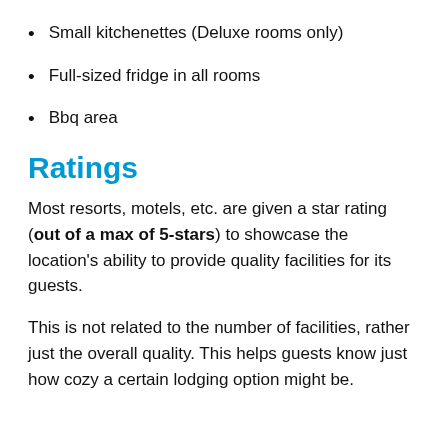Small kitchenettes (Deluxe rooms only)
Full-sized fridge in all rooms
Bbq area
Ratings
Most resorts, motels, etc. are given a star rating (out of a max of 5-stars) to showcase the location's ability to provide quality facilities for its guests.
This is not related to the number of facilities, rather just the overall quality. This helps guests know just how cozy a certain lodging option might be.